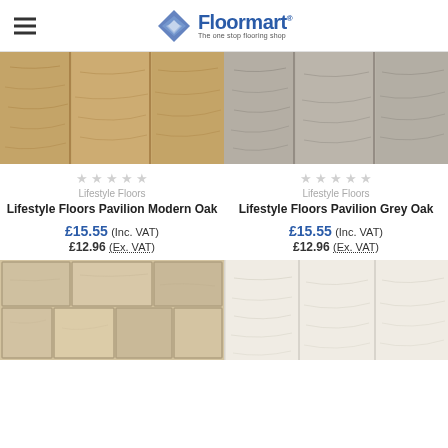Floormart — The one stop flooring shop
[Figure (photo): Warm brown wood plank flooring texture — Lifestyle Floors Pavilion Modern Oak]
[Figure (photo): Grey wood plank flooring texture — Lifestyle Floors Pavilion Grey Oak]
★★★★★ (empty stars rating) Lifestyle Floors — Lifestyle Floors Pavilion Modern Oak — £15.55 (Inc. VAT) — £12.96 (Ex. VAT)
★★★★★ (empty stars rating) Lifestyle Floors — Lifestyle Floors Pavilion Grey Oak — £15.55 (Inc. VAT) — £12.96 (Ex. VAT)
[Figure (photo): Beige stone/tile flooring texture]
[Figure (photo): White/cream wood plank flooring texture]